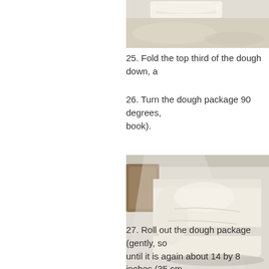[Figure (photo): Top portion of a dough being folded on a floured surface, showing butter or dough layer at top]
25. Fold the top third of the dough down, a
26. Turn the dough package 90 degrees, book).
[Figure (photo): Folded dough package on a light surface showing a letter-fold shape, viewed from above at an angle]
27. Roll out the dough package (gently, so until it is again about 14 by 8 inches (35 cm
28. Again, fold the top third down and the b
29. Wrap the dough package in plastic wra
30. After two hours have passed, take the